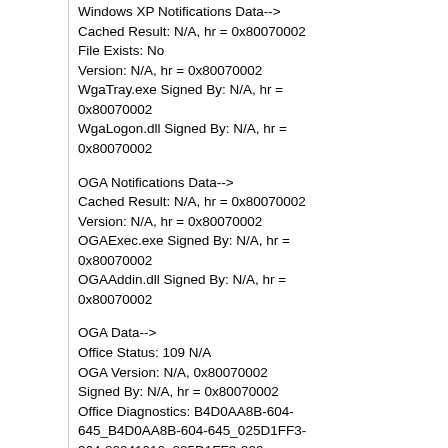Windows XP Notifications Data-->
Cached Result: N/A, hr = 0x80070002
File Exists: No
Version: N/A, hr = 0x80070002
WgaTray.exe Signed By: N/A, hr = 0x80070002
WgaLogon.dll Signed By: N/A, hr = 0x80070002
OGA Notifications Data-->
Cached Result: N/A, hr = 0x80070002
Version: N/A, hr = 0x80070002
OGAExec.exe Signed By: N/A, hr = 0x80070002
OGAAddin.dll Signed By: N/A, hr = 0x80070002
OGA Data-->
Office Status: 109 N/A
OGA Version: N/A, 0x80070002
Signed By: N/A, hr = 0x80070002
Office Diagnostics: B4D0AA8B-604-645_B4D0AA8B-604-645_025D1FF3-364-80041010_025D1FF3-229-80041010_025D1FF3-230-1_025D1FF3-517-80040154_025D1FF3-237-